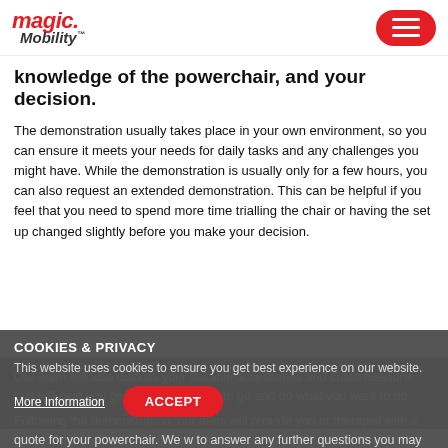magic Mobility
knowledge of the powerchair, and your decision.
The demonstration usually takes place in your own environment, so you can ensure it meets your needs for daily tasks and any challenges you might have. While the demonstration is usually only for a few hours, you can also request an extended demonstration. This can be helpful if you feel that you need to spend more time trialling the chair or having the set up changed slightly before you make your decision.
Our team will also discuss your suitable accessories and customisations that will help you get where you need to go and do what you want to do.
Following the demonstration, our team will provide you or therapist with a quote for your powerchair. We w to answer any further questions you may have in relation funding and pricing.
COOKIES & PRIVACY
This website uses cookies to ensure you get best experience on our website.
More Information
ACCEPT